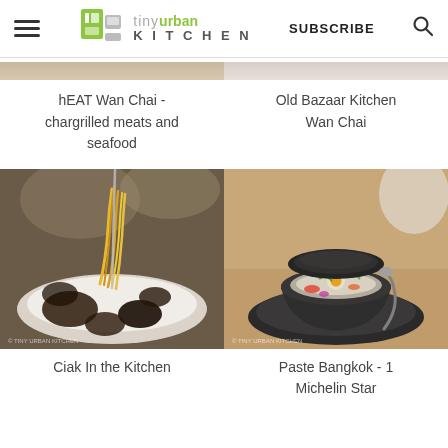tiny urban KITCHEN — SUBSCRIBE
hEAT Wan Chai - chargrilled meats and seafood
Old Bazaar Kitchen Wan Chai
[Figure (photo): Plate of noodles with dark truffles or mushrooms, yellow noodles being lifted with fork, on white plate, tiny urban kitchen watermark]
[Figure (photo): Elegant dish in dark stone mortar bowl with egg and colorful vegetables, served on dark plate with spoon, tiny urban kitchen watermark]
Ciak In the Kitchen
Paste Bangkok - 1 Michelin Star